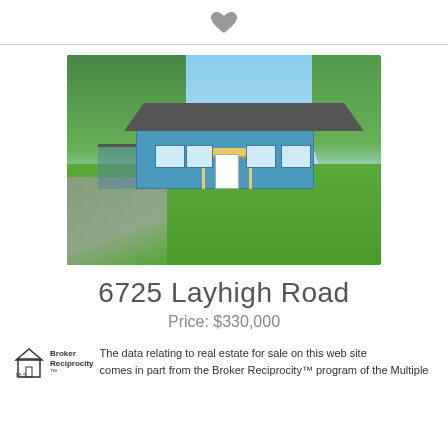[Figure (illustration): Heart/favorite icon (filled gray heart shape) centered at top]
[Figure (photo): Exterior photo of a single-story blue ranch house with carport on left, green lawn, trees, clear blue sky]
6725 Layhigh Road
Price: $330,000
The data relating to real estate for sale on this web site comes in part from the Broker Reciprocity™ program of the Multiple